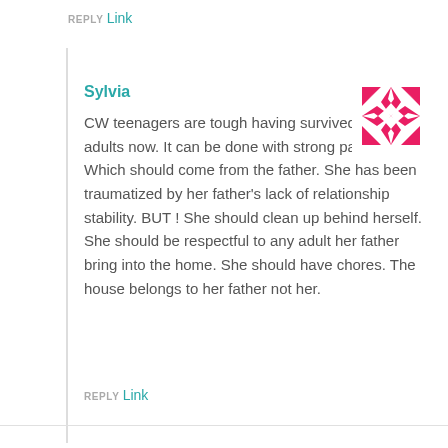REPLY Link
Sylvia
CW teenagers are tough having survived 2 who are adults now. It can be done with strong parenting. Which should come from the father. She has been traumatized by her father's lack of relationship stability. BUT ! She should clean up behind herself. She should be respectful to any adult her father bring into the home. She should have chores. The house belongs to her father not her.
REPLY Link
[Figure (illustration): Pink and white decorative geometric/quilt pattern avatar icon]